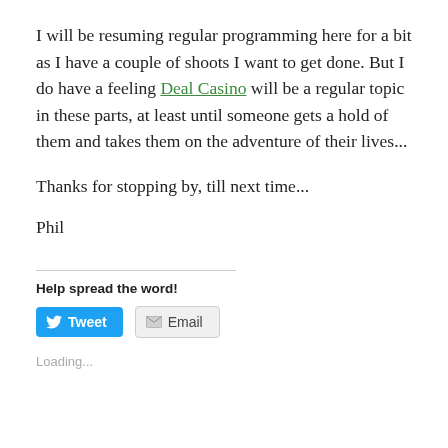I will be resuming regular programming here for a bit as I have a couple of shoots I want to get done. But I do have a feeling Deal Casino will be a regular topic in these parts, at least until someone gets a hold of them and takes them on the adventure of their lives...
Thanks for stopping by, till next time...
Phil
Help spread the word!
[Figure (other): Tweet and Email social sharing buttons]
Loading...